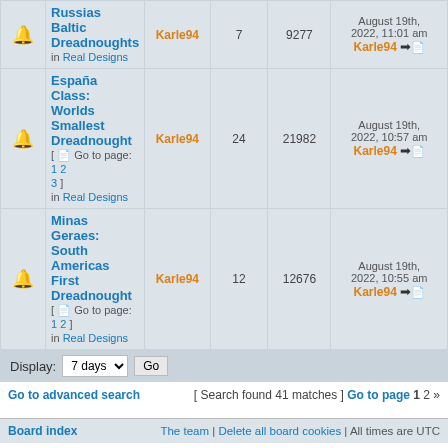|  | Topic | Author | Replies | Views | Last post |
| --- | --- | --- | --- | --- | --- |
| 🔔 | Russias Baltic Dreadnoughts
in Real Designs | Karle94 | 7 | 9277 | August 19th, 2022, 11:01 am Karle94 ➡📄 |
| 🔔 | España Class: Worlds Smallest Dreadnought [ 📄 Go to page: 1 2 3 ]
in Real Designs | Karle94 | 24 | 21982 | August 19th, 2022, 10:57 am Karle94 ➡📄 |
| 🔔 | Minas Geraes: South Americas First Dreadnought [ 📄 Go to page: 1 2 ]
in Real Designs | Karle94 | 12 | 12676 | August 19th, 2022, 10:55 am Karle94 ➡📄 |
Display: 7 days  Go
Go to advanced search  [ Search found 41 matches ]  Go to page 1 2 »
Board index  The team | Delete all board cookies | All times are UTC
Jump to: Select a forum
Powered by phpBB® Forum Software © phpBB Limited
[ GZIP: Off ]